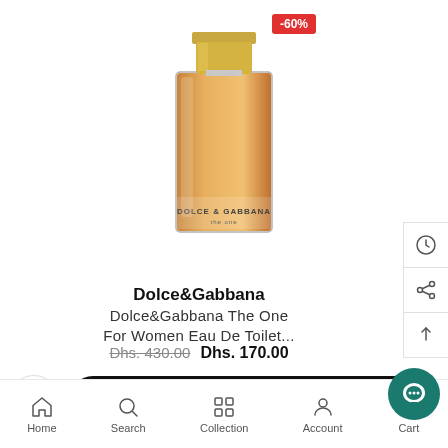[Figure (photo): Dolce&Gabbana The One perfume bottle with gold cap, clear glass rectangular bottle with warm amber/golden liquid, label reads DOLCE & GABBANA the one. Red discount badge showing -60% in top right corner.]
Dolce&Gabbana
Dolce&Gabbana The One For Women Eau De Toilet...
Dhs. 430.00 Dhs. 170.00
ADD TO CART
Home  Search  Collection  Account  Cart